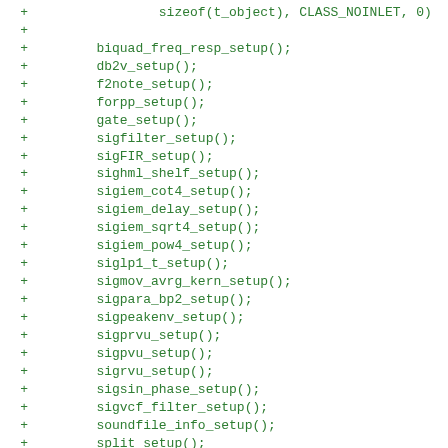[Figure (screenshot): Code diff showing green '+' lines of C code adding setup function calls for an audio library (iemlib1). Lines include sizeof(t_object), CLASS_NOINLET, 0), biquad_freq_resp_setup(), db2v_setup(), f2note_setup(), forpp_setup(), gate_setup(), sigfilter_setup(), sigFIR_setup(), sighml_shelf_setup(), sigiem_cot4_setup(), sigiem_delay_setup(), sigiem_sqrt4_setup(), sigiem_pow4_setup(), siglp1_t_setup(), sigmov_avrg_kern_setup(), sigpara_bp2_setup(), sigpeakenv_setup(), sigprvu_setup(), sigpvu_setup(), sigrvu_setup(), sigsin_phase_setup(), sigvcf_filter_setup(), soundfile_info_setup(), split_setup(), v2db_setup(), post("iemlib1 (R-1.15) library loaded!"), +}]